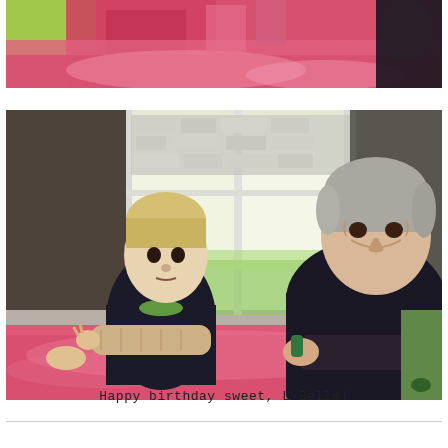[Figure (photo): Top portion of a birthday party scene — pink tablecloth with colorful decorations, pink and green party items visible, dark-clothed person at right edge]
[Figure (photo): A young blonde boy with his arm in a cast/bandage resting on a pink tablecloth, sitting next to an older grey-haired man in a dark shirt who is leaning on the table and smiling. A window with a garden view is behind them. Another person in green is partially visible at right.]
Happy birthday sweet, L Belle!